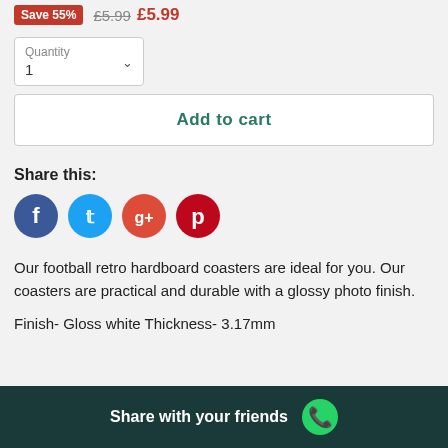Save 55% £5.99 £5.99
Quantity 1
Add to cart
Share this:
[Figure (infographic): Social media sharing icons: Facebook (blue), Twitter (light blue), Google+ (red-orange), Pinterest (dark red)]
Our football retro hardboard coasters are ideal for you. Our coasters are practical and durable with a glossy photo finish.
Finish- Gloss white Thickness- 3.17mm
Share with your friends